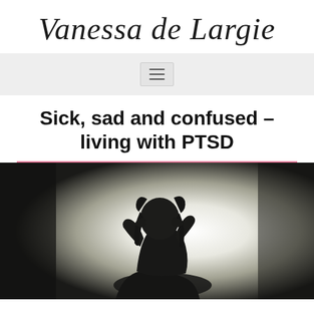Vanessa de Largie
[Figure (other): Hamburger/menu icon button on a light grey navigation bar]
Sick, sad and confused – living with PTSD
[Figure (photo): Silhouette of a person sitting with head in hands against a bright white glowing background, suggesting distress or sadness]